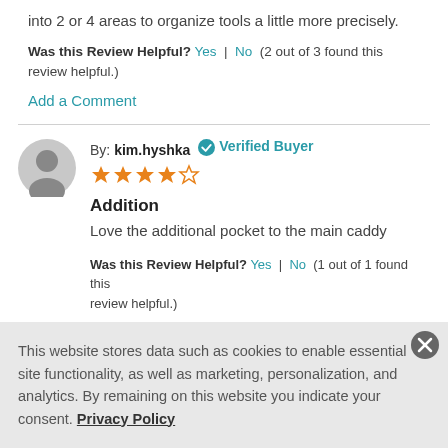into 2 or 4 areas to organize tools a little more precisely.
Was this Review Helpful? Yes | No (2 out of 3 found this review helpful.)
Add a Comment
By: kim.hyshka  Verified Buyer  ★★★★☆  Addition  Love the additional pocket to the main caddy
Was this Review Helpful? Yes | No (1 out of 1 found this review helpful.)
This website stores data such as cookies to enable essential site functionality, as well as marketing, personalization, and analytics. By remaining on this website you indicate your consent. Privacy Policy